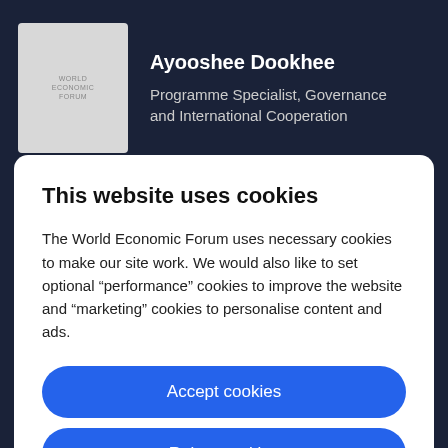Ayooshee Dookhee
Programme Specialist, Governance and International Cooperation
This website uses cookies
The World Economic Forum uses necessary cookies to make our site work. We would also like to set optional “performance” cookies to improve the website and “marketing” cookies to personalise content and ads.
Accept cookies
Reject cookies
Cookie settings
Managing Director, Global Programming Group